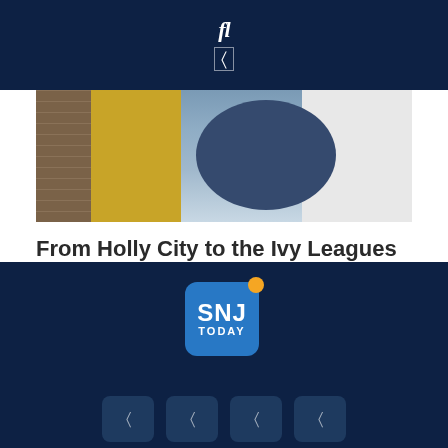fl
[Figure (photo): Person standing with arms crossed against a brick wall and white tile wall background]
From Holly City to the Ivy Leagues
08/23/2022
[Figure (logo): SNJ Today logo - blue rounded square with orange dot, white text SNJ TODAY]
Social media icon buttons